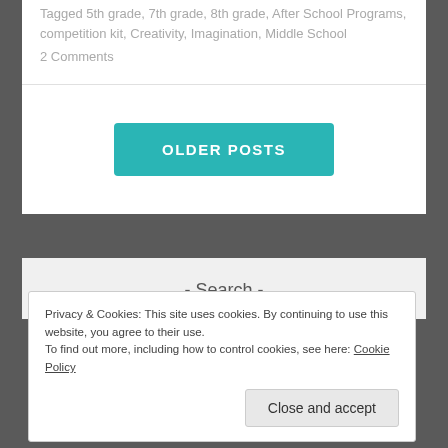Tagged 5th grade, 7th grade, 8th grade, After School Programs, competition kit, Creativity, Imagination, Middle School
2 Comments
OLDER POSTS
- Search -
Privacy & Cookies: This site uses cookies. By continuing to use this website, you agree to their use.
To find out more, including how to control cookies, see here: Cookie Policy
Close and accept